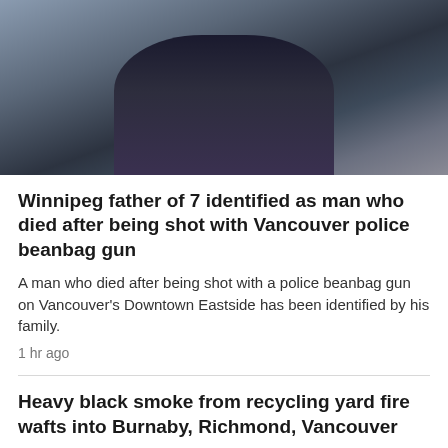[Figure (photo): Photo of a person in a dark t-shirt with a tattoo on their arm, blurred background]
Winnipeg father of 7 identified as man who died after being shot with Vancouver police beanbag gun
A man who died after being shot with a police beanbag gun on Vancouver's Downtown Eastside has been identified by his family.
1 hr ago
Heavy black smoke from recycling yard fire wafts into Burnaby, Richmond, Vancouver
2 hr ago
Surrey mayor promises to build 60,000-seat stadium if re-elected